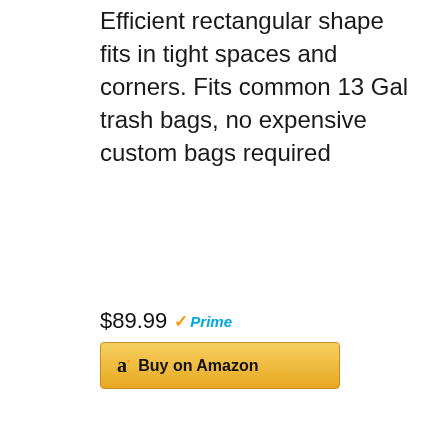Efficient rectangular shape fits in tight spaces and corners. Fits common 13 Gal trash bags, no expensive custom bags required
$89.99
[Figure (photo): A stainless steel whisk or kitchen tool with a long thin handle and loop at the top, photographed diagonally against a white background]
Buy on Amazon